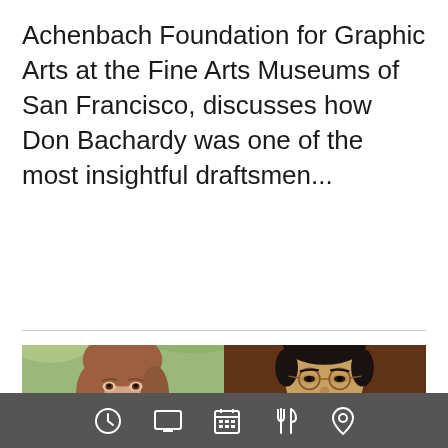Achenbach Foundation for Graphic Arts at the Fine Arts Museums of San Francisco, discusses how Don Bachardy was one of the most insightful draftsmen...
[Figure (photo): Two side-by-side portrait photos: left shows a woman with long brown hair and bangs against a green outdoor background; right shows an Asian man with glasses against a dark brown background.]